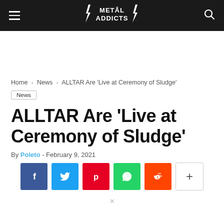Metal Addicts
Home › News › ALLTAR Are 'Live at Ceremony of Sludge'
News
ALLTAR Are 'Live at Ceremony of Sludge'
By Poleto - February 9, 2021
[Figure (other): Social sharing buttons: Facebook, Twitter, Pinterest, WhatsApp, Reddit, More (+)]